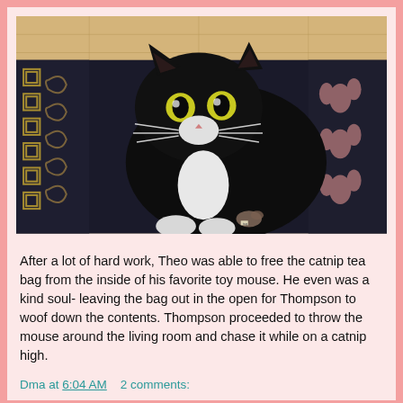[Figure (photo): A black tuxedo cat with wide yellow-green eyes sitting on a dark patterned rug with gold/cream floral and Greek key designs. The cat has a white chest patch and white paws. A small toy mouse is visible near the cat's paws.]
After a lot of hard work, Theo was able to free the catnip tea bag from the inside of his favorite toy mouse. He even was a kind soul- leaving the bag out in the open for Thompson to woof down the contents. Thompson proceeded to throw the mouse around the living room and chase it while on a catnip high.
Dma at 6:04 AM   2 comments: